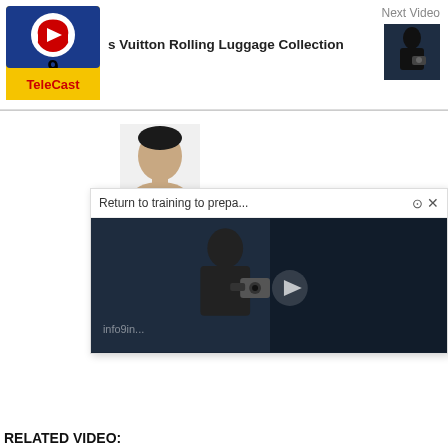[Figure (logo): TeleCast logo: blue/yellow background with white circle, red play button, headphones icon, and '9' numeral, with 'TeleCast' text below]
Next Video
s Vuitton Rolling Luggage Collection
[Figure (photo): Thumbnail of a person in dark clothing holding a camera, photographed against a dark background]
[Figure (photo): Person avatar/portrait photo, partially visible head of a person]
Return to training to prepa...
[Figure (photo): Video thumbnail showing a person in dark clothing holding a camera in a dark setting, with 'info9in...' watermark text and a play button overlay]
RELATED VIDEO: